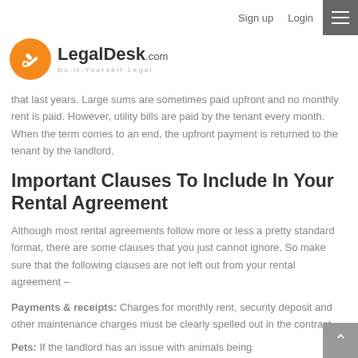Sign up   Login
[Figure (logo): LegalDesk.com logo with orange circle icon and tagline Do-it-Yourself Legal]
that last years. Large sums are sometimes paid upfront and no monthly rent is paid. However, utility bills are paid by the tenant every month. When the term comes to an end, the upfront payment is returned to the tenant by the landlord.
Important Clauses To Include In Your Rental Agreement
Although most rental agreements follow more or less a pretty standard format, there are some clauses that you just cannot ignore. So make sure that the following clauses are not left out from your rental agreement –
Payments & receipts: Charges for monthly rent, security deposit and other maintenance charges must be clearly spelled out in the contract.
Pets: If the landlord has an issue with animals being